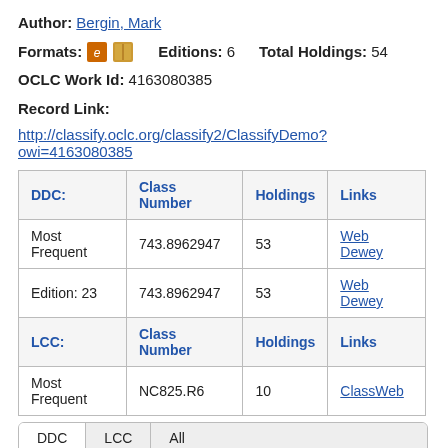Author: Bergin, Mark
Formats: [e-book icon] [book icon]   Editions: 6   Total Holdings: 54
OCLC Work Id: 4163080385
Record Link:
http://classify.oclc.org/classify2/ClassifyDemo?owi=4163080385
| DDC: | Class Number | Holdings | Links |
| --- | --- | --- | --- |
| Most Frequent | 743.8962947 | 53 | Web Dewey |
| Edition: 23 | 743.8962947 | 53 | Web Dewey |
| LCC: | Class Number | Holdings | Links |
| Most Frequent | NC825.R6 | 10 | ClassWeb |
[Figure (other): Tabbed interface showing DDC, LCC, All tabs with DDC selected. Below the tabs a heading 'DDC' and a partially visible dark blue pie chart at the bottom.]